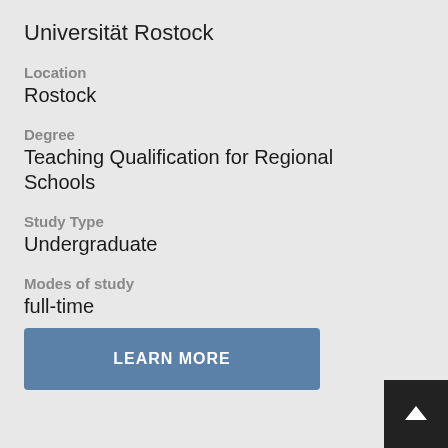Universität Rostock
Location
Rostock
Degree
Teaching Qualification for Regional Schools
Study Type
Undergraduate
Modes of study
full-time
LEARN MORE